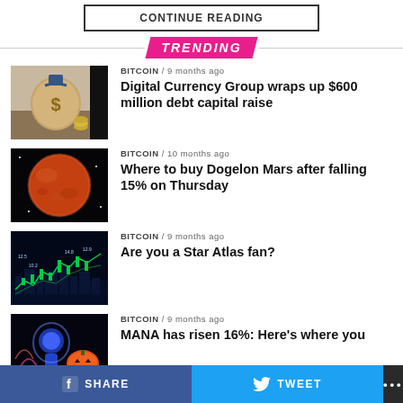CONTINUE READING
TRENDING
[Figure (photo): Money bag with dollar sign and coins on wooden surface]
BITCOIN / 9 months ago
Digital Currency Group wraps up $600 million debt capital raise
[Figure (photo): Planet Mars with red/orange surface against dark space background]
BITCOIN / 10 months ago
Where to buy Dogelon Mars after falling 15% on Thursday
[Figure (photo): Cryptocurrency trading chart with green candlesticks on dark blue background with city skyline]
BITCOIN / 9 months ago
Are you a Star Atlas fan?
[Figure (photo): Colorful glowing figure on dark background with Halloween pumpkin]
BITCOIN / 9 months ago
MANA has risen 16%: Here's where you
SHARE   TWEET   ...